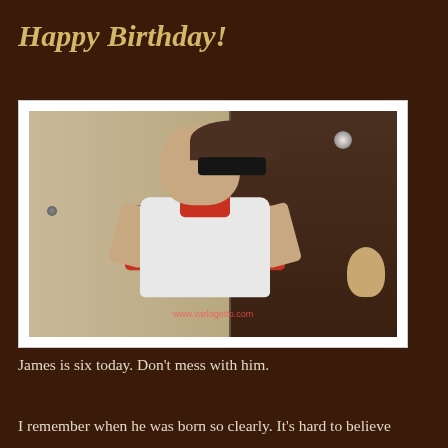Happy Birthday!
[Figure (photo): A young boy (James, age six) wearing dark sunglasses and a white and red t-shirt with bicycle graphic, standing with hands on hips in a confident pose. Background shows a door and a display cabinet with a stuffed animal. Watermark reads www.varlogetto.com]
James is six today. Don't mess with him.
I remember when he was born so clearly. It's hard to believe